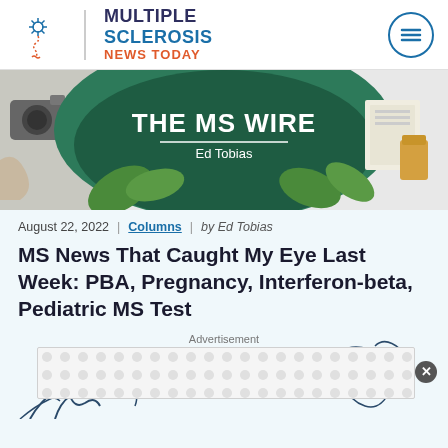[Figure (logo): Multiple Sclerosis News Today logo with snowflake/nerve cell icon and hamburger menu button]
[Figure (illustration): THE MS WIRE banner by Ed Tobias showing illustrated items including leaves, a camera, papers, and a drink on a teal/green background]
August 22, 2022 | Columns | by Ed Tobias
MS News That Caught My Eye Last Week: PBA, Pregnancy, Interferon-beta, Pediatric MS Test
[Figure (illustration): Advertisement placeholder box with dot pattern and close button, overlaid on a partial illustration of hands/arms in line art style]
Advertisement